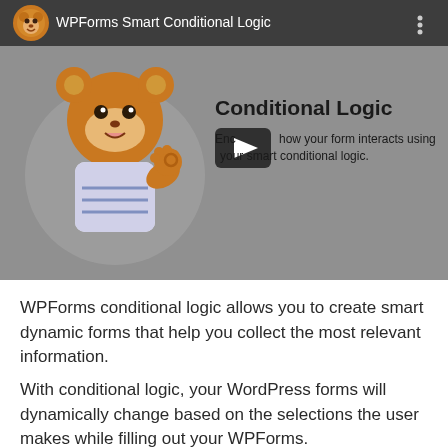[Figure (screenshot): A YouTube-style video thumbnail showing a WPForms bear mascot character on the left and text 'Conditional Logic' with a play button on the right. The top bar shows a channel avatar, the title 'WPForms Smart Conditional Logic', and a three-dot menu. Below the play button text reads 'Enc... ntrol how your form interacts using your smart conditional logic.']
WPForms conditional logic allows you to create smart dynamic forms that help you collect the most relevant information.
With conditional logic, your WordPress forms will dynamically change based on the selections the user makes while filling out your WPForms.